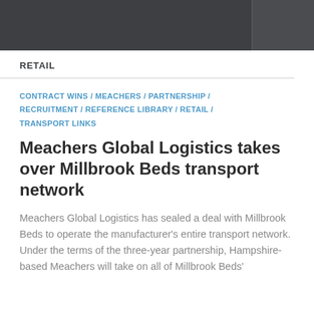RETAIL
CONTRACT WINS / MEACHERS / PARTNERSHIP / RECRUITMENT / REFERENCE LIBRARY / RETAIL / TRANSPORT LINKS
Meachers Global Logistics takes over Millbrook Beds transport network
Meachers Global Logistics has sealed a deal with Millbrook Beds to operate the manufacturer’s entire transport network. Under the terms of the three-year partnership, Hampshire-based Meachers will take on all of Millbrook Beds’